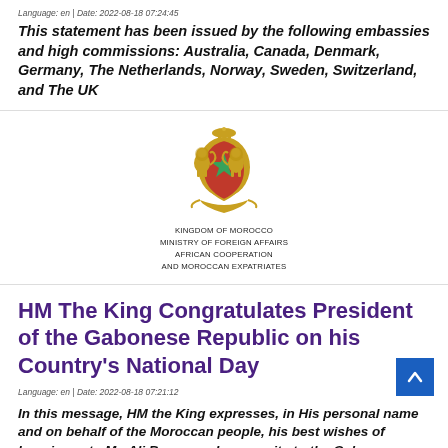Language: en | Date: 2022-08-18 07:24:45
This statement has been issued by the following embassies and high commissions: Australia, Canada, Denmark, Germany, The Netherlands, Norway, Sweden, Switzerland, and The UK
[Figure (logo): Kingdom of Morocco coat of arms / emblem with lions and crown, above text: KINGDOM OF MOROCCO / MINISTRY OF FOREIGN AFFAIRS / AFRICAN COOPERATION / AND MOROCCAN EXPATRIATES]
HM The King Congratulates President of the Gabonese Republic on his Country's National Day
Language: en | Date: 2022-08-18 07:21:12
In this message, HM the King expresses, in His personal name and on behalf of the Moroccan people, his best wishes of happiness to Mr. Ali Bongo and prosperity to the Gabonese people